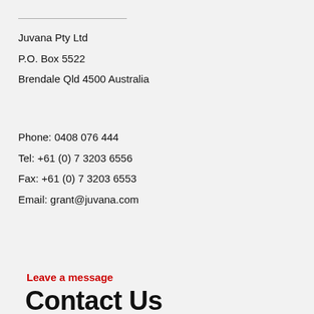Juvana Pty Ltd
P.O. Box 5522
Brendale Qld 4500 Australia
Phone: 0408 076 444
Tel: +61 (0) 7 3203 6556
Fax: +61 (0) 7 3203 6553
Email: grant@juvana.com
Leave a message
Contact Us